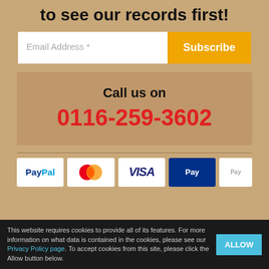to see our records first!
Email Address *
Subscribe
Call us on
0116-259-3602
[Figure (logo): Payment method logos: PayPal, Mastercard, Visa, and a partially visible PayPal logo on a blue background]
This website requires cookies to provide all of its features. For more information on what data is contained in the cookies, please see our Privacy Policy page. To accept cookies from this site, please click the Allow button below.